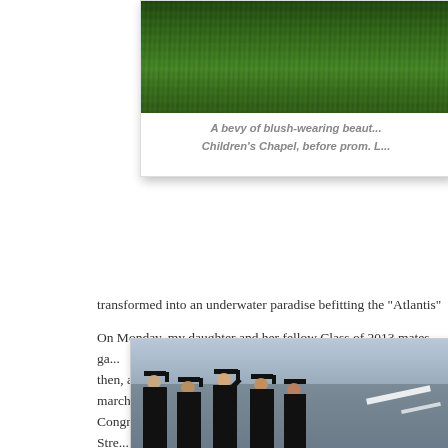[Figure (photo): Photo showing grass/outdoor scene at top, partially cropped. Below is a caption area.]
A bevy of blush-wearing beauties gathered at the Children's Chapel, before prom. L...
transformed into an underwater paradise befitting the “Atlantis”
On Monday, my daughter and her fellow Class of 2013 mates ga... then, accompanied by the memorable strains of bagpipes, march... Congregational Church for the baccalaureate service. Main Stre... friends, businessmen and tourists, all wishing the soon-to-be gra...
[Figure (photo): Graduation procession photo showing students in caps and gowns marching on a road or parking lot.]